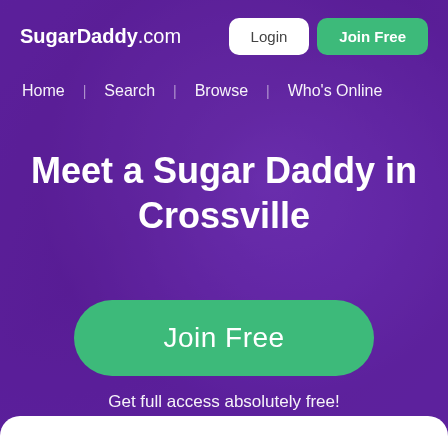SugarDaddy.com  Login  Join Free
Home  Search  Browse  Who's Online
Meet a Sugar Daddy in Crossville
Join Free
Get full access absolutely free!